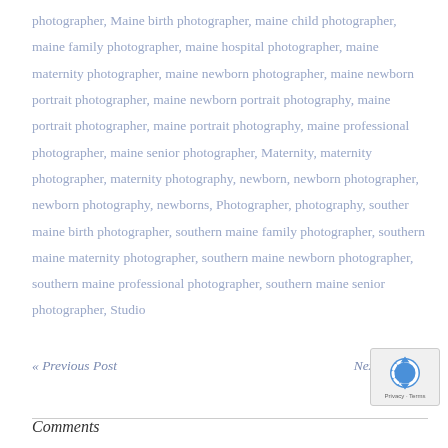photographer, Maine birth photographer, maine child photographer, maine family photographer, maine hospital photographer, maine maternity photographer, maine newborn photographer, maine newborn portrait photographer, maine newborn portrait photography, maine portrait photographer, maine portrait photography, maine professional photographer, maine senior photographer, Maternity, maternity photographer, maternity photography, newborn, newborn photographer, newborn photography, newborns, Photographer, photography, souther maine birth photographer, southern maine family photographer, southern maine maternity photographer, southern maine newborn photographer, southern maine professional photographer, southern maine senior photographer, Studio
« Previous Post
Next Post »
Comments